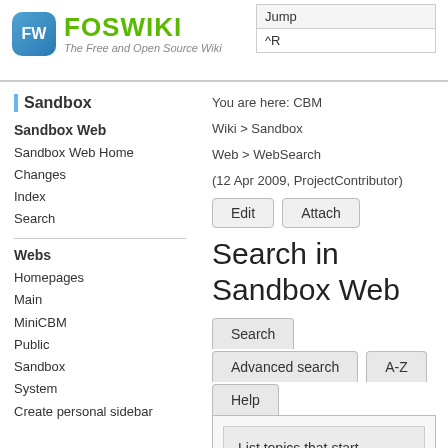[Figure (logo): FW Foswiki logo with tagline 'The Free and Open Source Wiki']
Jump
^R
Sandbox
Sandbox Web
Sandbox Web Home
Changes
Index
Search
Webs
Homepages
Main
MiniCBM
Public
Sandbox
System
Create personal sidebar
You are here: CBM
Wiki > Sandbox
Web > WebSearch
(12 Apr 2009, ProjectContributor)
Edit   Attach
Search in Sandbox Web
Search
Advanced search   A-Z
Help
List topics that start with the letter: